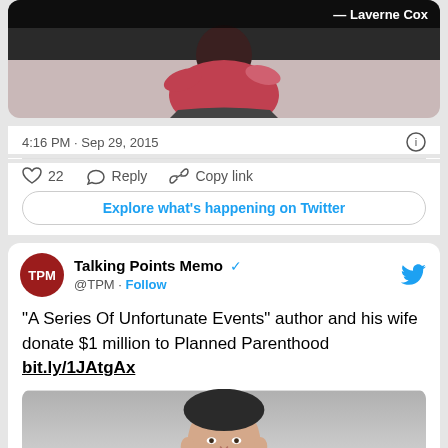[Figure (photo): Tweet card top section showing photo of person (Laverne Cox) with dark background and quote attribution]
4:16 PM · Sep 29, 2015
22  Reply  Copy link
Explore what's happening on Twitter
[Figure (screenshot): Second tweet card from Talking Points Memo (@TPM)]
Talking Points Memo @TPM · Follow
"A Series Of Unfortunate Events" author and his wife donate $1 million to Planned Parenthood bit.ly/1JAtgAx
[Figure (photo): Photo of a man (smiling face, dark hair) at bottom of tweet card]